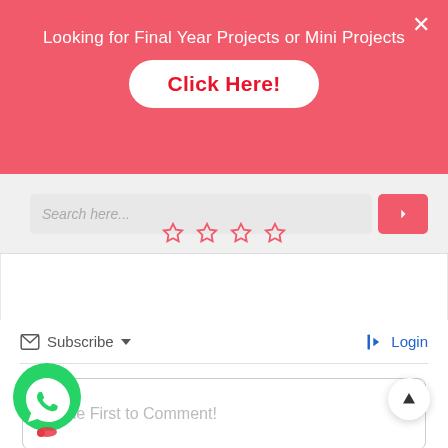[Figure (screenshot): Red promotional banner with text 'Looking for Final Year Projects or Mini Projects' and a white rounded button labeled 'Click Here!' in red bold text, plus an X close button in top right corner.]
[Figure (screenshot): Search bar input field with placeholder 'Search here...' and a pink search button with arrow icon, followed by a row of bookmark/star icons.]
Subscribe   Login
Be the First to Comment!
MENTS
[Figure (screenshot): WhatsApp floating chat bubble icon (green circle with phone handset) at bottom left, and a scroll-to-top arrow button at bottom right.]